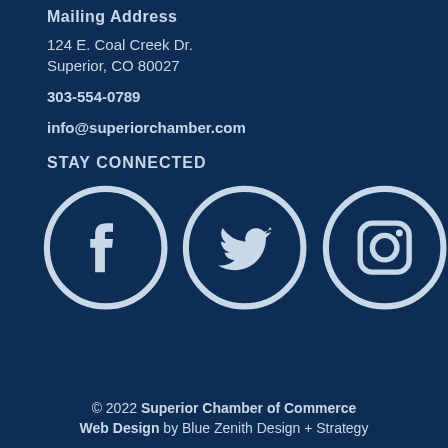Mailing Address
124 E. Coal Creek Dr.
Superior, CO 80027
303-554-0789
info@superiorchamber.com
STAY CONNECTED
[Figure (other): Social media icons: Facebook, Twitter, Instagram]
© 2022 Superior Chamber of Commerce Web Design by Blue Zenith Design + Strategy